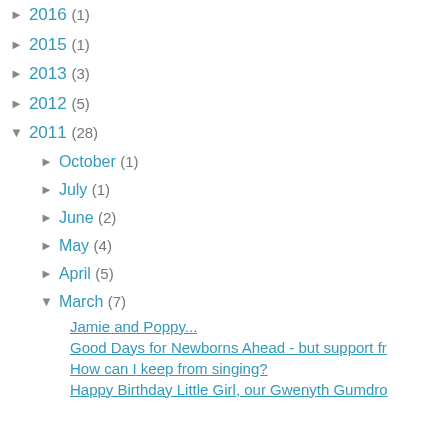► 2016 (1)
► 2015 (1)
► 2013 (3)
► 2012 (5)
▼ 2011 (28)
► October (1)
► July (1)
► June (2)
► May (4)
► April (5)
▼ March (7)
Jamie and Poppy...
Good Days for Newborns Ahead - but support fr
How can I keep from singing?
Happy Birthday Little Girl, our Gwenyth Gumdro